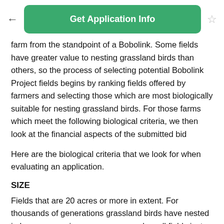Get Application Info
farm from the standpoint of a Bobolink. Some fields have greater value to nesting grassland birds than others, so the process of selecting potential Bobolink Project fields begins by ranking fields offered by farmers and selecting those which are most biologically suitable for nesting grassland birds. For those farms which meet the following biological criteria, we then look at the financial aspects of the submitted bid
Here are the biological criteria that we look for when evaluating an application.
SIZE
Fields that are 20 acres or more in extent. For thousands of generations grassland birds have nested in large, expansive open areas - and small fields just don't look like